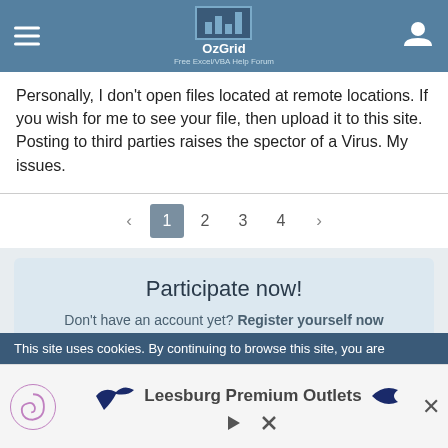OzGrid Free Excel/VBA Help Forum
Personally, I don't open files located at remote locations. If you wish for me to see your file, then upload it to this site. Posting to third parties raises the spector of a Virus. My issues.
< 1 2 3 4 >
Participate now!
Don't have an account yet? Register yourself now
This site uses cookies. By continuing to browse this site, you are
[Figure (screenshot): Advertisement banner for Leesburg Premium Outlets with logo and close button]